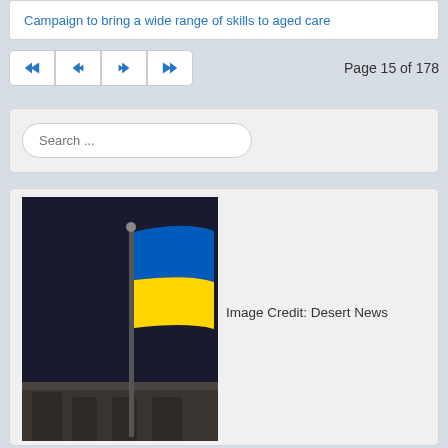Campaign to bring a wide range of skills to aged care
Page 15 of 178
[Figure (screenshot): Search bar UI with placeholder text 'Search ...']
[Figure (photo): Ukrainian flag (blue and yellow) flying from a flagpole in front of a building, dark background. Image Credit: Desert News]
Image Credit: Desert News